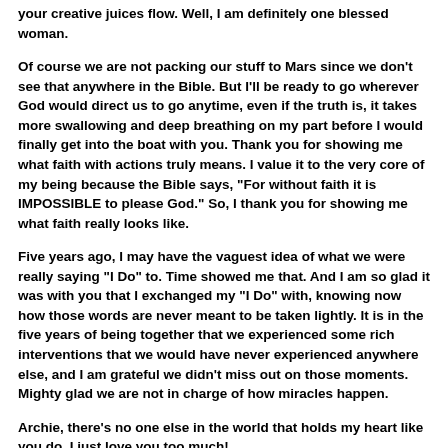your creative juices flow. Well, I am definitely one blessed woman.
Of course we are not packing our stuff to Mars since we don't see that anywhere in the Bible. But I'll be ready to go wherever God would direct us to go anytime, even if the truth is, it takes more swallowing and deep breathing on my part before I would finally get into the boat with you. Thank you for showing me what faith with actions truly means. I value it to the very core of my being because the Bible says, “For without faith it is IMPOSSIBLE to please God.” So, I thank you for showing me what faith really looks like.
Five years ago, I may have the vaguest idea of what we were really saying “I Do” to. Time showed me that. And I am so glad it was with you that I exchanged my “I Do” with, knowing now how those words are never meant to be taken lightly. It is in the five years of being together that we experienced some rich interventions that we would have never experienced anywhere else, and I am grateful we didn’t miss out on those moments. Mighty glad we are not in charge of how miracles happen.
Archie, there’s no one else in the world that holds my heart like you do. I just love you too much!